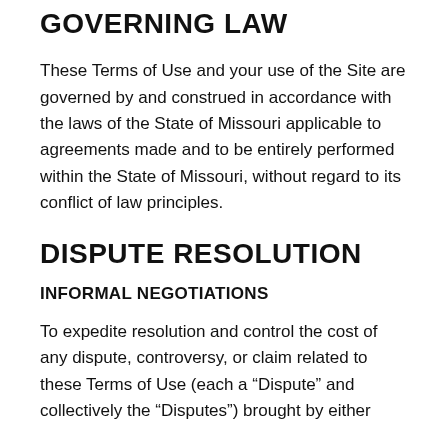GOVERNING LAW
These Terms of Use and your use of the Site are governed by and construed in accordance with the laws of the State of Missouri applicable to agreements made and to be entirely performed within the State of Missouri, without regard to its conflict of law principles.
DISPUTE RESOLUTION
INFORMAL NEGOTIATIONS
To expedite resolution and control the cost of any dispute, controversy, or claim related to these Terms of Use (each a “Dispute” and collectively the “Disputes”) brought by either